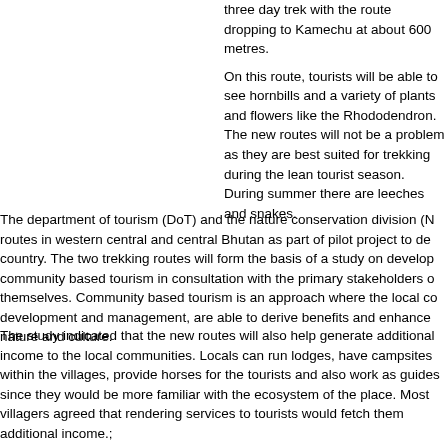three day trek with the route dropping to Kamechu at about 600 metres.
On this route, tourists will be able to see hornbills and a variety of plants and flowers like the Rhododendron. The new routes will not be a problem as they are best suited for trekking during the lean tourist season. During summer there are leeches and snakes.
The department of tourism (DoT) and the nature conservation division (N routes in western central and central Bhutan as part of pilot project to de country. The two trekking routes will form the basis of a study on develop community based tourism in consultation with the primary stakeholders o themselves. Community based tourism is an approach where the local co development and management, are able to derive benefits and enhance nature and culture.
The study indicated that the new routes will also help generate additional income to the local communities. Locals can run lodges, have campsites within the villages, provide horses for the tourists and also work as guides since they would be more familiar with the ecosystem of the place. Most villagers agreed that rendering services to tourists would fetch them additional income.;